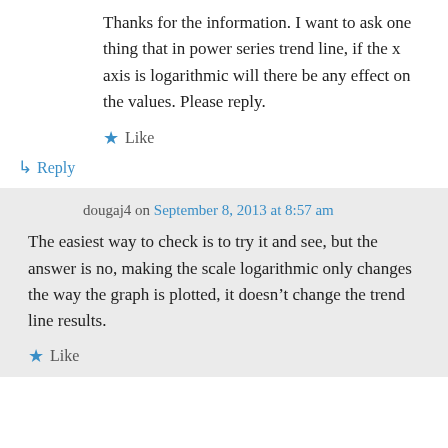Thanks for the information. I want to ask one thing that in power series trend line, if the x axis is logarithmic will there be any effect on the values. Please reply.
★ Like
↳ Reply
dougaj4 on September 8, 2013 at 8:57 am
The easiest way to check is to try it and see, but the answer is no, making the scale logarithmic only changes the way the graph is plotted, it doesn't change the trend line results.
★ Like